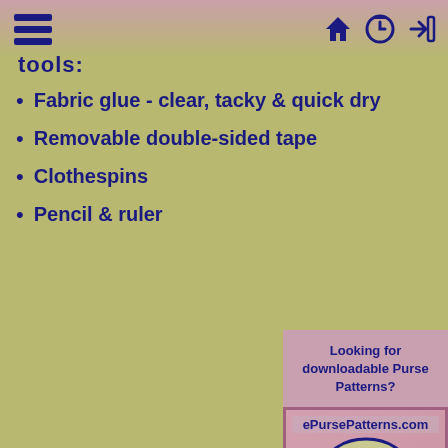Navigation bar with hamburger menu and icons
tools:
Fabric glue - clear, tacky & quick dry
Removable double-sided tape
Clothespins
Pencil & ruler
Looking for downloadable Purse Patterns?
[Figure (illustration): Advertisement for ePursePatterns.com showing a purse/handbag illustration with text 'Start sewing your handbag today!']